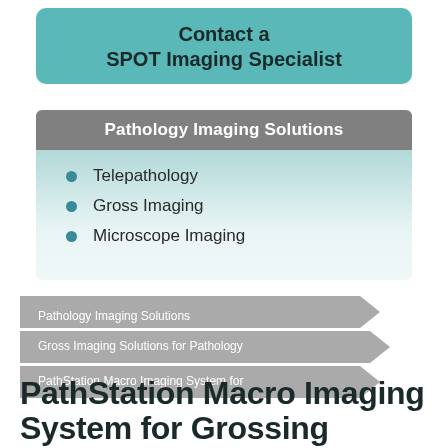Contact a SPOT Imaging Specialist
Pathology Imaging Solutions
Telepathology
Gross Imaging
Microscope Imaging
[Figure (infographic): Breadcrumb navigation arrows: Pathology Imaging Solutions, Gross Imaging Solutions for Pathology, PathStation Macro Imaging System for]
PathStation Macro Imaging System for Grossing Rooms